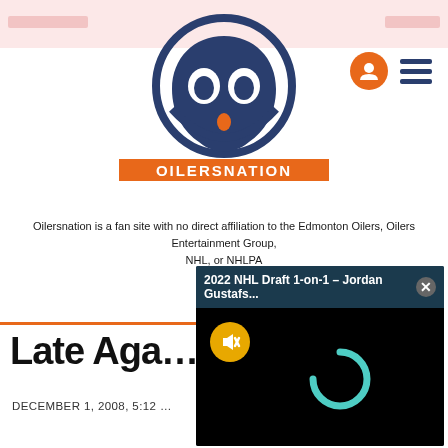[Figure (logo): OilersNation logo with blue owl/shield design and orange drop, with OILERSNATION text on orange bar]
Oilersnation is a fan site with no direct affiliation to the Edmonton Oilers, Oilers Entertainment Group, NHL, or NHLPA
[Figure (screenshot): Video popup overlay showing '2022 NHL Draft 1-on-1 – Jordan Gustafs...' with mute button and loading spinner on black background]
Late Aga…
DECEMBER 1, 2008, 5:12 …